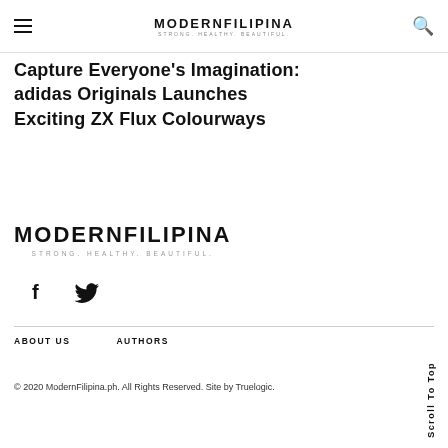MODERNFILIPINA — STRONG. HEALTHY. BEAUTIFUL.
Capture Everyone's Imagination: adidas Originals Launches Exciting ZX Flux Colourways
[Figure (logo): ModernFilipina logo with tagline STRONG. HEALTHY. BEAUTIFUL.]
[Figure (illustration): Social media icons: Facebook (f) and Twitter (bird icon)]
ABOUT US   AUTHORS
© 2020 ModernFilipina.ph. All Rights Reserved. Site by Truelogic.
Scroll To Top